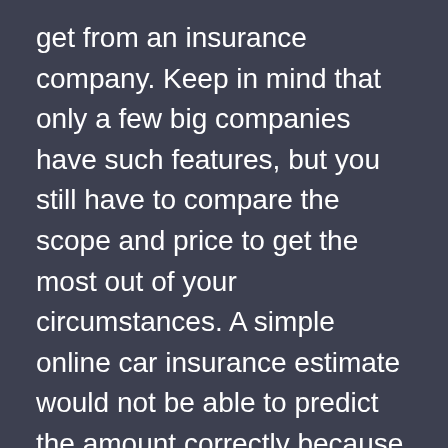get from an insurance company. Keep in mind that only a few big companies have such features, but you still have to compare the scope and price to get the most out of your circumstances. A simple online car insurance estimate would not be able to predict the amount correctly because this bundle type only involves too many variables in the calculation. The insurance agent can provide accurate car insurance estimates, in this case, so you want to consider working with it. Agen could be save money in auto insurance for you
Conclusions If you combine car insurance with